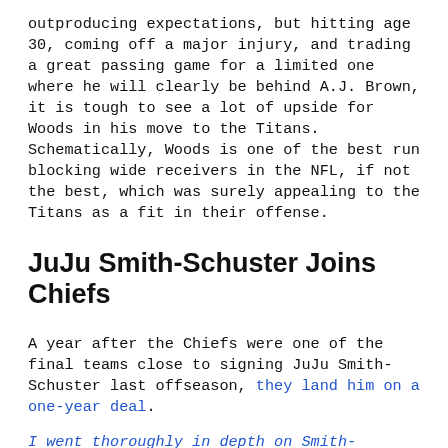outproducing expectations, but hitting age 30, coming off a major injury, and trading a great passing game for a limited one where he will clearly be behind A.J. Brown, it is tough to see a lot of upside for Woods in his move to the Titans. Schematically, Woods is one of the best run blocking wide receivers in the NFL, if not the best, which was surely appealing to the Titans as a fit in their offense.
JuJu Smith-Schuster Joins Chiefs
A year after the Chiefs were one of the final teams close to signing JuJu Smith-Schuster last offseason, they land him on a one-year deal.
I went thoroughly in depth on Smith-Schuster last offseason so I won't repeat all the same things in depth here, raising the questions on his career usage, personal production, and being caught in the stagnant Pittsburgh passing game as we tried to recapture the production that